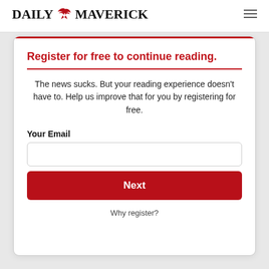DAILY MAVERICK
Register for free to continue reading.
The news sucks. But your reading experience doesn't have to. Help us improve that for you by registering for free.
Your Email
Next
Why register?